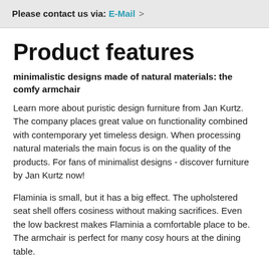Please contact us via: E-Mail >
Product features
minimalistic designs made of natural materials: the comfy armchair
Learn more about puristic design furniture from Jan Kurtz. The company places great value on functionality combined with contemporary yet timeless design. When processing natural materials the main focus is on the quality of the products. For fans of minimalist designs - discover furniture by Jan Kurtz now!
Flaminia is small, but it has a big effect. The upholstered seat shell offers cosiness without making sacrifices. Even the low backrest makes Flaminia a comfortable place to be. The armchair is perfect for many cosy hours at the dining table.
Jan Kurtz Flaminia Armchair
For example, for dining chairs and...